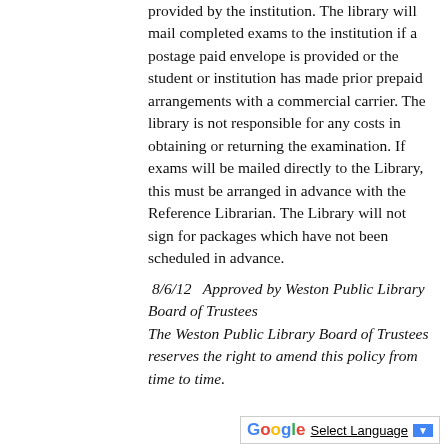provided by the institution.  The library will mail completed exams to the institution if a postage paid envelope is provided or the student or institution has made prior prepaid arrangements with a commercial carrier.  The library is not responsible for any costs in obtaining or returning the examination.  If exams will be mailed directly to the Library, this must be arranged in advance with the Reference Librarian.  The Library will not sign for packages which have not been scheduled in advance.
8/6/12   Approved by Weston Public Library Board of Trustees
The Weston Public Library Board of Trustees reserves the right to amend this policy from time to time.